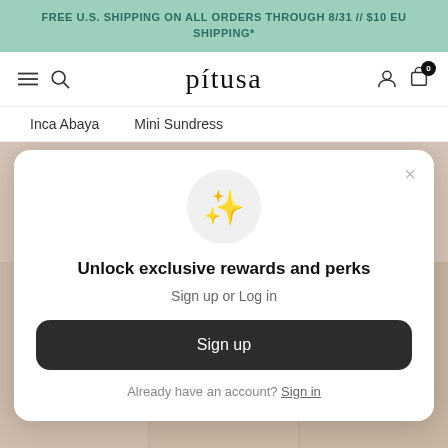FREE U.S. SHIPPING ON ALL ORDERS THROUGH 8/31 // $10 EU SHIPPING*
[Figure (screenshot): Pitusa e-commerce website navigation bar with hamburger menu, search icon, pitusa logo, user icon, and cart icon with 0 badge]
Inca Abaya   Mini Sundress
[Figure (screenshot): Modal popup with sparkle emoji icon, text 'Unlock exclusive rewards and perks', 'Sign up or Log in', a dark Sign up button, and 'Already have an account? Sign in' link]